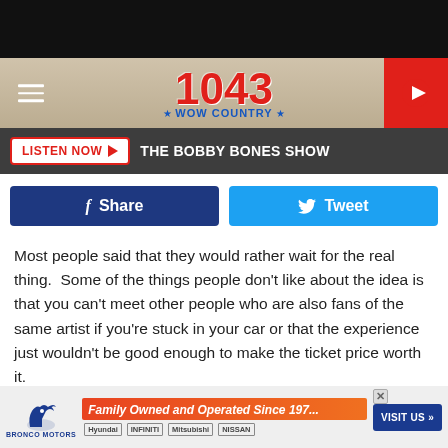[Figure (screenshot): 104.3 WOW Country radio station header banner with logo and hamburger menu]
LISTEN NOW   THE BOBBY BONES SHOW
[Figure (infographic): Facebook Share and Twitter Tweet social sharing buttons]
Most people said that they would rather wait for the real thing.  Some of the things people don't like about the idea is that you can't meet other people who are also fans of the same artist if you're stuck in your car or that the experience just wouldn't be good enough to make the ticket price worth it.
[Figure (screenshot): Bronco Motors advertisement - Family Owned and Operated Since 197... with car brand logos and Visit Us button]